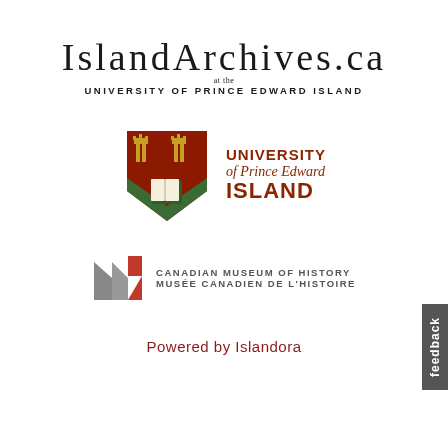IslandArchives.ca at the UNIVERSITY OF PRINCE EDWARD ISLAND
[Figure (logo): University of Prince Edward Island logo with shield (dark red and green, featuring open book and crown symbols) and text 'UNIVERSITY of Prince Edward ISLAND' in dark red]
[Figure (logo): Canadian Museum of History / Musée Canadien de l'Histoire logo with stylized M in grey and red]
Powered by Islandora
feedback